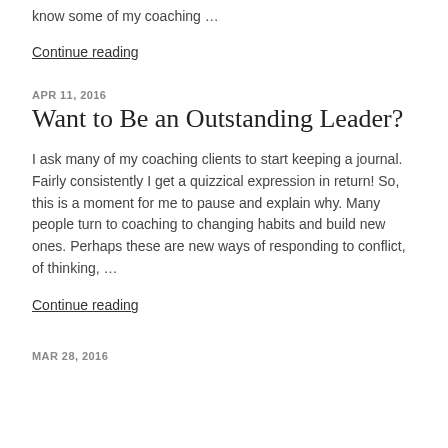know some of my coaching …
Continue reading
APR 11, 2016
Want to Be an Outstanding Leader?
I ask many of my coaching clients to start keeping a journal.  Fairly consistently I get a quizzical expression in return!  So, this is a moment for me to pause and explain why. Many people turn to coaching to changing habits and build new ones.  Perhaps these are new ways of responding to conflict, of thinking, …
Continue reading
MAR 28, 2016